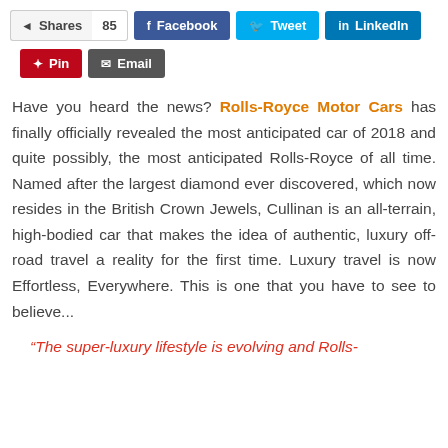Shares 85  Facebook  Tweet  LinkedIn  Pin  Email
Have you heard the news? Rolls-Royce Motor Cars has finally officially revealed the most anticipated car of 2018 and quite possibly, the most anticipated Rolls-Royce of all time. Named after the largest diamond ever discovered, which now resides in the British Crown Jewels, Cullinan is an all-terrain, high-bodied car that makes the idea of authentic, luxury off-road travel a reality for the first time. Luxury travel is now Effortless, Everywhere. This is one that you have to see to believe...
“The super-luxury lifestyle is evolving and Rolls-